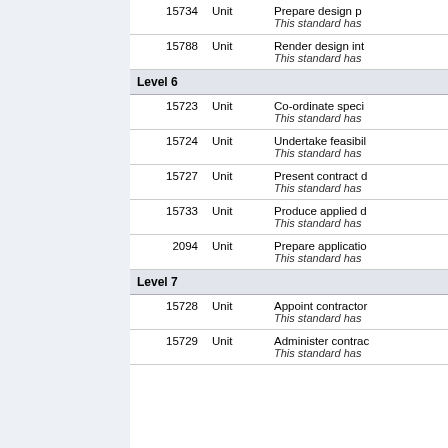|  | Unit | Description |
| --- | --- | --- |
| 15734 | Unit | Prepare design p...
This standard has |
| 15788 | Unit | Render design int...
This standard has |
| Level 6 |  |  |
| 15723 | Unit | Co-ordinate speci...
This standard has |
| 15724 | Unit | Undertake feasibil...
This standard has |
| 15727 | Unit | Present contract d...
This standard has |
| 15733 | Unit | Produce applied d...
This standard has |
| 2094 | Unit | Prepare applicatio...
This standard has |
| Level 7 |  |  |
| 15728 | Unit | Appoint contractor...
This standard has |
| 15729 | Unit | Administer contrac...
This standard has |